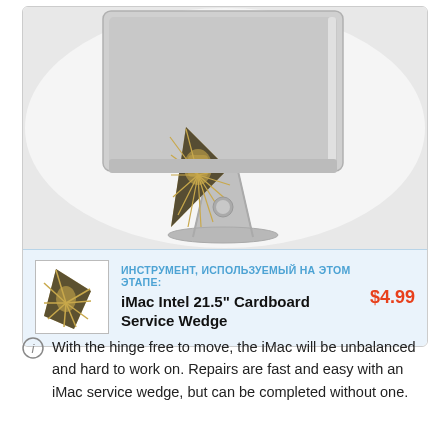[Figure (photo): Photo of iMac rear and stand, with a cardboard service wedge (decorated with a fist and sunburst graphic) propped between the iMac display and stand to hold the hinge open.]
[Figure (photo): Small thumbnail image of the iMac Intel 21.5 inch Cardboard Service Wedge product.]
ИНСТРУМЕНТ, ИСПОЛЬЗУЕМЫЙ НА ЭТОМ ЭТАПЕ:
iMac Intel 21.5" Cardboard Service Wedge
$4.99
With the hinge free to move, the iMac will be unbalanced and hard to work on. Repairs are fast and easy with an iMac service wedge, but can be completed without one.